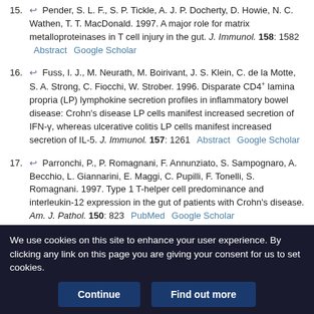15. Pender, S. L. F., S. P. Tickle, A. J. P. Docherty, D. Howie, N. C. Wathen, T. T. MacDonald. 1997. A major role for matrix metalloproteinases in T cell injury in the gut. J. Immunol. 158: 1582  Abstract  Google Scholar
16. Fuss, I. J., M. Neurath, M. Boirivant, J. S. Klein, C. de la Motte, S. A. Strong, C. Fiocchi, W. Strober. 1996. Disparate CD4+ lamina propria (LP) lymphokine secretion profiles in inflammatory bowel disease: Crohn's disease LP cells manifest increased secretion of IFN-γ, whereas ulcerative colitis LP cells manifest increased secretion of IL-5. J. Immunol. 157: 1261  Abstract  Google Scholar
17. Parronchi, P., P. Romagnani, F. Annunziato, S. Sampognaro, A. Becchio, L. Giannarini, E. Maggi, C. Pupilli, F. Tonelli, S. Romagnani. 1997. Type 1 T-helper cell predominance and interleukin-12 expression in the gut of patients with Crohn's disease. Am. J. Pathol. 150: 823  PubMed  Google Scholar
We use cookies on this site to enhance your user experience. By clicking any link on this page you are giving your consent for us to set cookies.